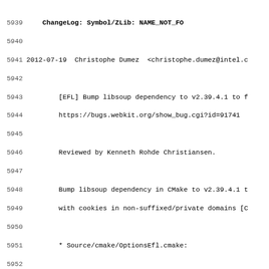Code/changelog snippet lines 5939-5971, showing git log entries for WebKit project
5941 2012-07-19  Christophe Dumez  <christophe.dumez@intel.c...
5943-5944 [EFL] Bump libsoup dependency to v2.39.4.1 to f... / https://bugs.webkit.org/show_bug.cgi?id=91741
5946 Reviewed by Kenneth Rohde Christiansen.
5948-5949 Bump libsoup dependency in CMake to v2.39.4.1 t... / with cookies in non-suffixed/private domains [C...
5951 * Source/cmake/OptionsEfl.cmake:
5953 2012-07-19  Mario Sanchez Prada  <msanchez@igalia.com>
5955-5956 [GTK] Enable MHTML support by default at build... / https://bugs.webkit.org/show_bug.cgi?id=89987
5958 Reviewed by Carlos Garcia Campos.
5960 Enable MHTML support by default for GTK in conf...
5962 * configure.ac:
5964 2012-07-18  Christophe Dumez  <christophe.dumez@intel.c...
5966-5967 [CMake][EFL] Should try to find the same libso... / https://bugs.webkit.org/show_bug.cgi?id=91626
5969 Reviewed by Kenneth Rohde Christiansen.
5971 Bump required version of libsoup in CMake to 2...